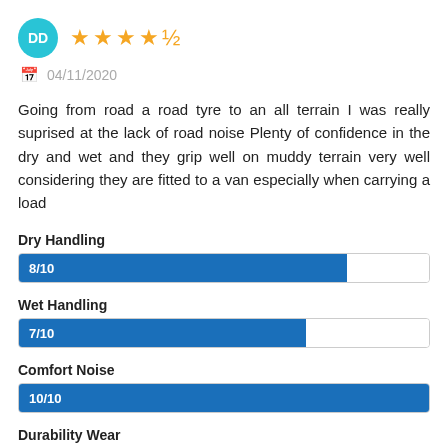[Figure (other): User avatar circle with initials DD in teal, followed by 4.5 orange stars rating]
04/11/2020
Going from road a road tyre to an all terrain I was really suprised at the lack of road noise Plenty of confidence in the dry and wet and they grip well on muddy terrain very well considering they are fitted to a van especially when carrying a load
Dry Handling
[Figure (bar-chart): Dry Handling]
Wet Handling
[Figure (bar-chart): Wet Handling]
Comfort Noise
[Figure (bar-chart): Comfort Noise]
Durability Wear
[Figure (bar-chart): Durability Wear]
Value for Money